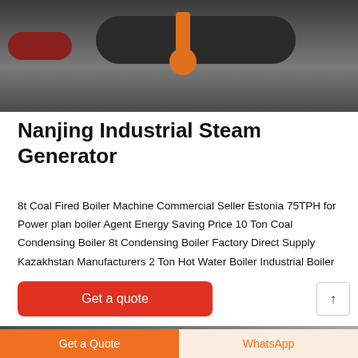[Figure (photo): Industrial steam boiler and equipment in a factory setting, showing a red cylindrical tank, large dark boiler, and orange pipe/valve assembly]
Nanjing Industrial Steam Generator
8t Coal Fired Boiler Machine Commercial Seller Estonia 75TPH for Power plan boiler Agent Energy Saving Price 10 Ton Coal Condensing Boiler 8t Condensing Boiler Factory Direct Supply Kazakhstan Manufacturers 2 Ton Hot Water Boiler Industrial Boiler
Get a quote
[Figure (photo): Partial view of industrial boiler equipment, bottom of page]
Get a Quote | WhatsApp